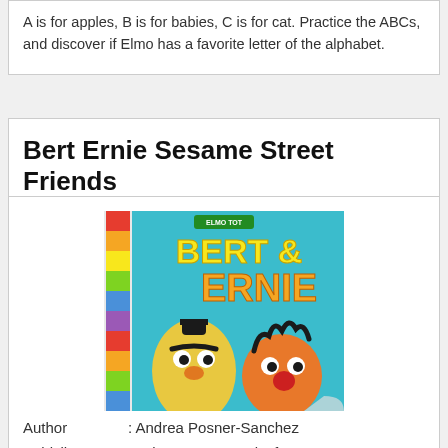A is for apples, B is for babies, C is for cat. Practice the ABCs, and discover if Elmo has a favorite letter of the alphabet.
Bert Ernie Sesame Street Friends
[Figure (photo): Book cover of 'Bert & Ernie' from Sesame Street showing Bert and Ernie characters on a teal background with colorful crayon strip on left side and 'BERT & ERNIE' text in large yellow and orange letters.]
Author       : Andrea Posner-Sanchez
Publsiher    : Random House Books for Young